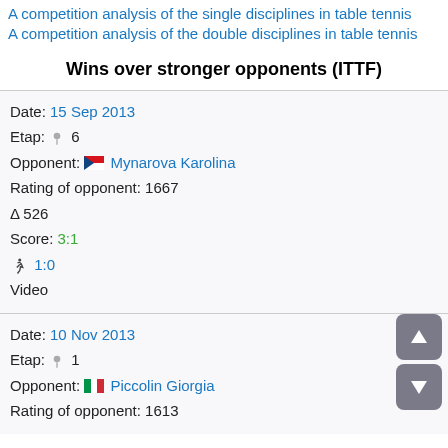A competition analysis of the single disciplines in table tennis
A competition analysis of the double disciplines in table tennis
Wins over stronger opponents (ITTF)
Date: 15 Sep 2013
Etap: 🎖 6
Opponent: 🇨🇿 Mynarova Karolina
Rating of opponent: 1667
Δ 526
Score: 3:1
🚶 1:0
Video
Date: 10 Nov 2013
Etap: 🎖 1
Opponent: 🇮🇹 Piccolin Giorgia
Rating of opponent: 1613